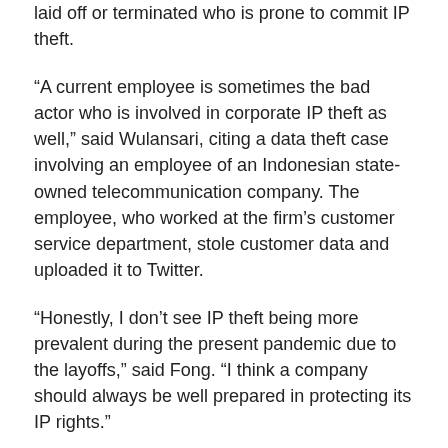laid off or terminated who is prone to commit IP theft.
“A current employee is sometimes the bad actor who is involved in corporate IP theft as well,” said Wulansari, citing a data theft case involving an employee of an Indonesian state-owned telecommunication company. The employee, who worked at the firm’s customer service department, stole customer data and uploaded it to Twitter.
“Honestly, I don’t see IP theft being more prevalent during the present pandemic due to the layoffs,” said Fong. “I think a company should always be well prepared in protecting its IP rights.”
After all, as mentioned, any IP asset may be stolen and any business in whatever industry may fall prey to IP theft. Especially in this age of digital technology when a would-be perpetrator only needs a few devices such as a thumb drive and a micro SD card. The idea of a hostile employee sneaking into a room, browsing through the files and stealing some confidential documents or paraphernalia when